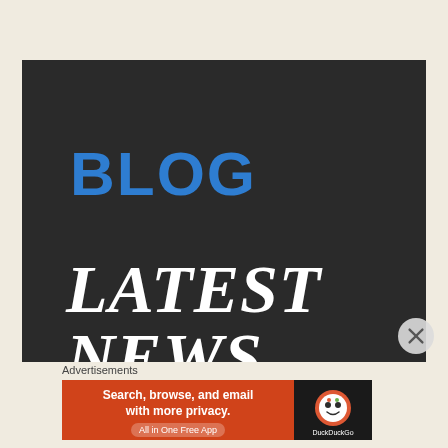[Figure (illustration): Dark background blog header image with 'BLOG' in large blue bold text and 'LATEST NEWS' in large white italic serif text below]
Advertisements
[Figure (screenshot): DuckDuckGo advertisement banner: orange background with text 'Search, browse, and email with more privacy. All in One Free App' and DuckDuckGo logo on dark background on the right]